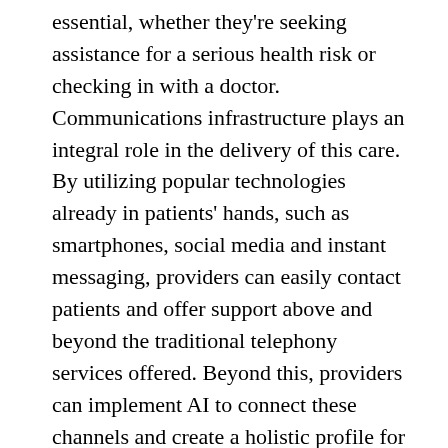essential, whether they're seeking assistance for a serious health risk or checking in with a doctor. Communications infrastructure plays an integral role in the delivery of this care. By utilizing popular technologies already in patients' hands, such as smartphones, social media and instant messaging, providers can easily contact patients and offer support above and beyond the traditional telephony services offered. Beyond this, providers can implement AI to connect these channels and create a holistic profile for patients – seeing where and when they reach out for support, and mapping resources to fulfill these needs.
This connected health approach, creates efficiencies by pooling and analyzing data that is beneficial to both healthcare providers and patients. For instance, AI can be used to quickly match appointments for patients with